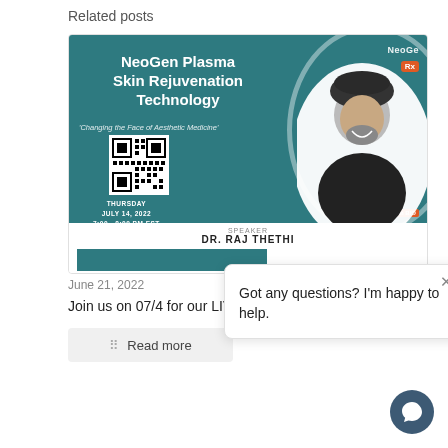Related posts
[Figure (infographic): NeoGen Plasma Skin Rejuvenation Technology webinar flyer with teal background, QR code, speaker photo, and event details. Speaker: DR. RAJ THETHI, Thursday July 14, 2022, 7:00 - 8:00 PM EST]
June 21, 2022
Join us on 07/4 for our LIVE WEBINAR
Read more
Got any questions? I'm happy to help.